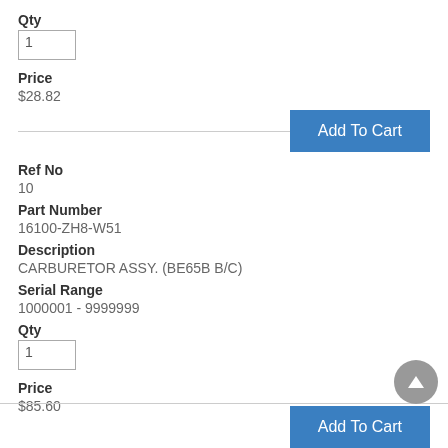Qty
1
Price
$28.82
Add To Cart
Ref No
10
Part Number
16100-ZH8-W51
Description
CARBURETOR ASSY. (BE65B B/C)
Serial Range
1000001 - 9999999
Qty
1
Price
$85.60
Add To Cart